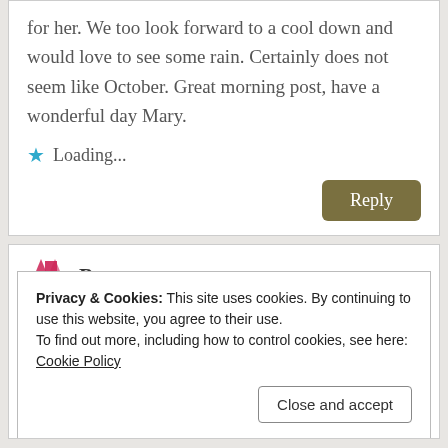for her. We too look forward to a cool down and would love to see some rain. Certainly does not seem like October. Great morning post, have a wonderful day Mary.
Loading...
Reply
Pat
Privacy & Cookies: This site uses cookies. By continuing to use this website, you agree to their use.
To find out more, including how to control cookies, see here:
Cookie Policy
Close and accept
walk L and S!